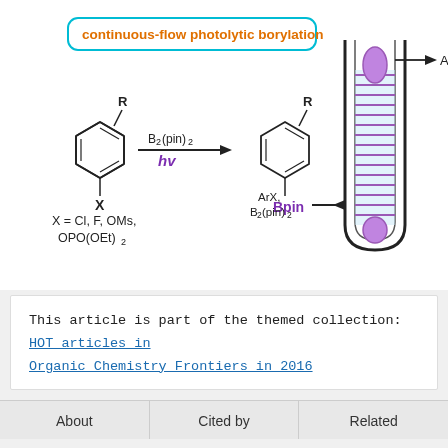[Figure (schematic): Chemical reaction scheme showing continuous-flow photolytic borylation. An aryl halide (Ar-X, where X = Cl, F, OMs, OPO(OEt)2) reacts with B2(pin)2 under hv (light) to give ArBpin (arylboronate). A flow reactor diagram on the right shows a coiled tube reactor with inlet arrow labeled 'ArX, B2(pin)2' and outlet arrow labeled 'ArBpin'. Title label reads 'continuous-flow photolytic borylation' in orange with cyan border.]
This article is part of the themed collection: HOT articles in Organic Chemistry Frontiers in 2016
About
Cited by
Related